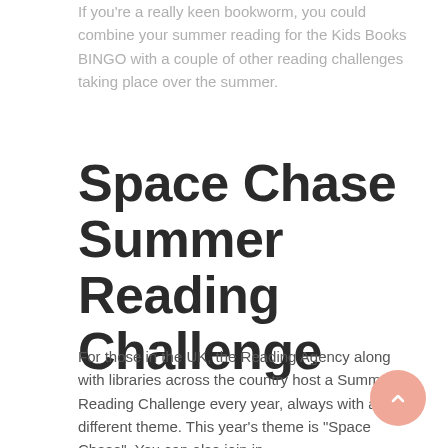If you're a really keen bookworm, you could combine your summer reading for the Kids Books BINGO with a couple of other reading challenges taking place over the summer.
Space Chase Summer Reading Challenge
For those in the UK, the Reading Agency along with libraries across the country host a Summer Reading Challenge every year, always with a different theme. This year's theme is "Space Chase". You can also join in...